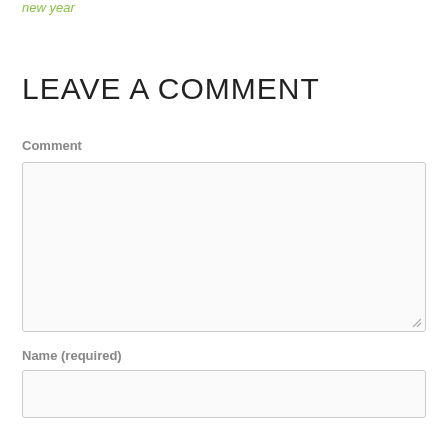new year
LEAVE A COMMENT
Comment
Name (required)